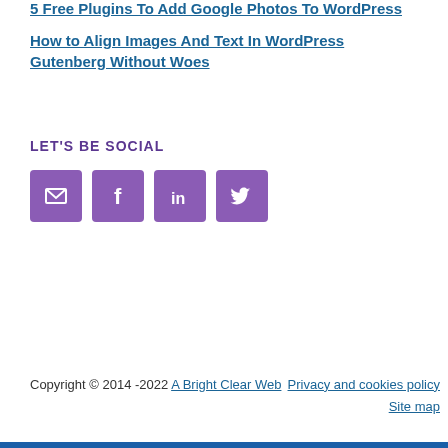5 Free Plugins To Add Google Photos To WordPress
How to Align Images And Text In WordPress Gutenberg Without Woes
LET'S BE SOCIAL
[Figure (infographic): Four purple square social media icon buttons: email (envelope), Facebook (f), LinkedIn (in), Twitter (bird)]
Copyright © 2014 -2022 A Bright Clear Web   Privacy and cookies policy   Site map